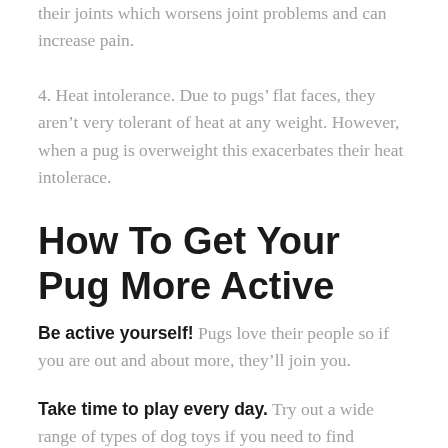their joints which worsens joint problems and can increase pain.
4. Heat intolerance. Due to pugs’ flat faces, they aren’t very tolerant of heat at any weight. However, when a pug is overweight this exacerbates their heat intolerace.
How To Get Your Pug More Active
Be active yourself! Pugs love their people so if you are out and about more, they’ll join you.
Take time to play every day. Try out a wide range of types of dog toys if you need to find something your